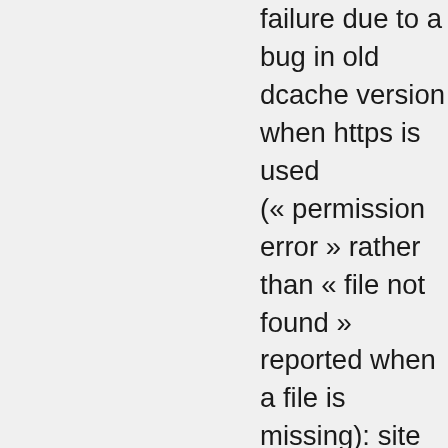failure due to a bug in old dcache version when https is used (« permission error » rather than « file not found » reported when a file is missing): site will upgrade to new dcache version and in the mean time srm